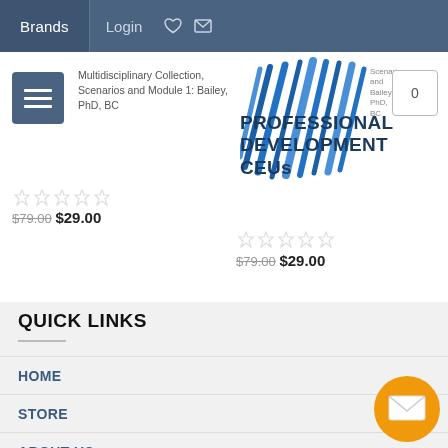Brands  Login
[Figure (logo): Professional Development CEUs logo with diagonal blue lines pattern]
PROFESSIONAL DEVELOPMENT CEUs
Multidisciplinary Collection, Scenarios and Module 1: Bailey, PhD, BC
$79.00  $29.00
$79.00  $29.00
QUICK LINKS
HOME
STORE
ABOUT US
CONTACT US